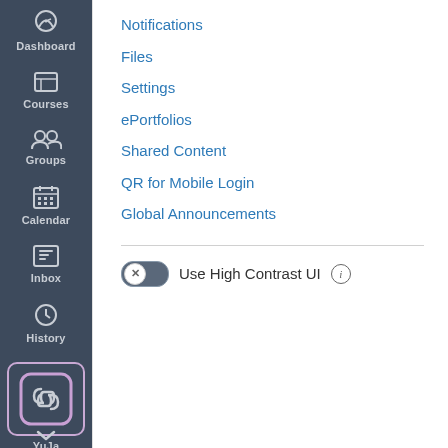[Figure (screenshot): Canvas LMS left navigation sidebar with icons for Dashboard, Courses, Groups, Calendar, Inbox, History, YuJa (highlighted with purple border), and Help. Right panel shows account menu links: Notifications, Files, Settings, ePortfolios, Shared Content, QR for Mobile Login, Global Announcements, and a Use High Contrast UI toggle switch.]
Notifications
Files
Settings
ePortfolios
Shared Content
QR for Mobile Login
Global Announcements
Use High Contrast UI